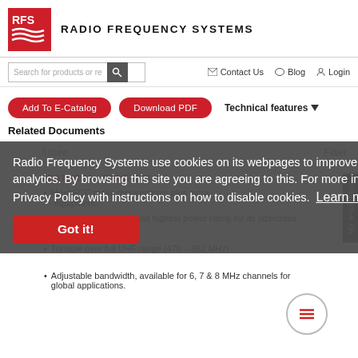[Figure (logo): RFS Radio Frequency Systems logo — red square with white wavy lines and RFS text]
RADIO FREQUENCY SYSTEMS
Search for products or re
Contact Us   Blog   Login
Add To E-Catalog
Download PDF
Technical features ▾
Related Documents
future.
Filter
FEATURES / BENEFITS
Meet FCC mask requirements plus extra
Lowest insertion loss and highest power rating for its size/class.
Tunable over full UHF range (470 – 862 MHz)
Adjustable bandwidth, available for 6, 7 & 8 MHz channels for global applications.
Radio Frequency Systems use cookies on its webpages to improve performance and analytics. By browsing this site you are agreeing to this. For more information see our Privacy Policy with instructions on how to disable cookies.  Learn more
Got it!